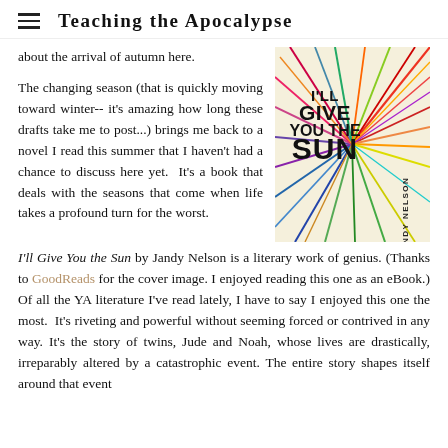Teaching the Apocalypse
about the arrival of autumn here.
[Figure (illustration): Book cover of 'I'll Give You the Sun' by Jandy Nelson — colorful radiating lines on a cream background with bold black text]
The changing season (that is quickly moving toward winter-- it's amazing how long these drafts take me to post...) brings me back to a novel I read this summer that I haven't had a chance to discuss here yet. It's a book that deals with the seasons that come when life takes a profound turn for the worst. I'll Give You the Sun by Jandy Nelson is a literary work of genius. (Thanks to GoodReads for the cover image. I enjoyed reading this one as an eBook.) Of all the YA literature I've read lately, I have to say I enjoyed this one the most. It's riveting and powerful without seeming forced or contrived in any way. It's the story of twins, Jude and Noah, whose lives are drastically, irreparably altered by a catastrophic event. The entire story shapes itself around that event